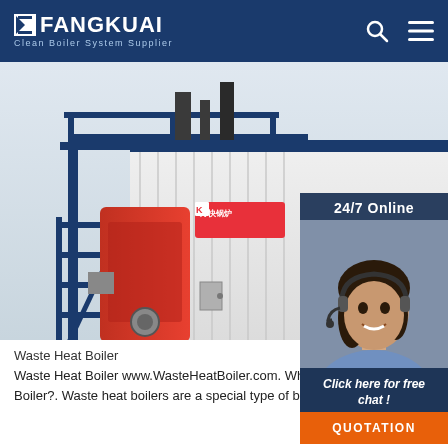FANGKUAI — Clean Boiler System Supplier
[Figure (photo): Industrial waste heat boiler unit — large white container-style boiler with blue steel frame, red combustion chamber/burner on the left side, metallic stairs and walkway on left, Chinese branding label on the boiler face. Light grey background.]
[Figure (photo): Customer service representative — smiling woman with headset, dark hair, blue blouse, on a dark navy background panel showing '24/7 Online', 'Click here for free chat!', and an orange QUOTATION button.]
[Figure (illustration): Orange 'TOP' arrow/icon with dots above the letters, positioned bottom right of the white section.]
Waste Heat Boiler
Waste Heat Boiler www.WasteHeatBoiler.com. What is a Waste Heat Boiler?. Waste heat boilers are a special type of boiler that